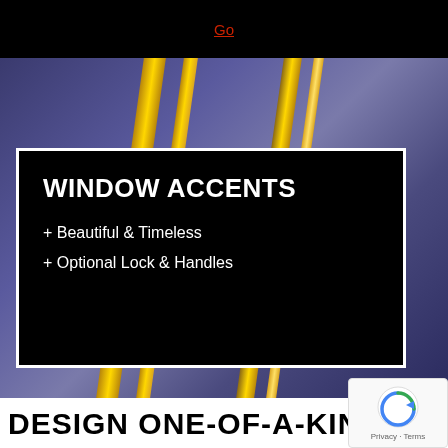Go
[Figure (photo): Decorative photo of metallic window accent hardware with gold/brass bars and blue-purple tones in the background]
WINDOW ACCENTS
+ Beautiful & Timeless
+ Optional Lock & Handles
DESIGN ONE-OF-A-KIND WINDOWS WITH OUR